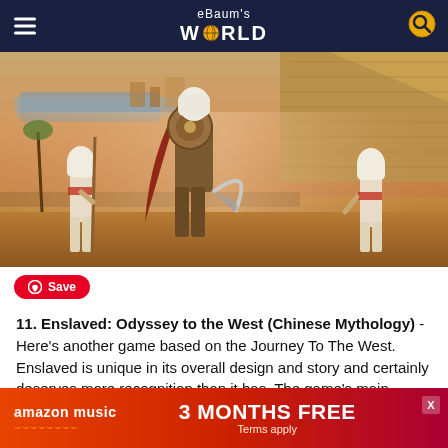eBaum's World
[Figure (screenshot): Assassin's Creed Origins game screenshot showing warrior with shield and spear in ancient Egyptian desert setting with pyramids]
Save
11. Enslaved: Odyssey to the West (Chinese Mythology) - Here's another game based on the Journey To The West. Enslaved is unique in its overall design and story and certainly deserves more recognition than it has. The game's main protagonist is Monkey, and the game also follows a similar tale to mytho...
[Figure (infographic): Amazon Music 3 Months Free advertisement banner. Terms apply.]